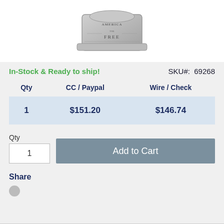[Figure (photo): Silver metal pin/badge with 'AMERICA THE FREE' inscription]
In-Stock & Ready to ship!
SKU#: 69268
| Qty | CC / Paypal | Wire / Check |
| --- | --- | --- |
| 1 | $151.20 | $146.74 |
Qty
1
Add to Cart
Share